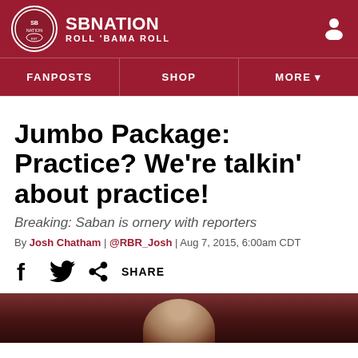SBNation — Roll 'Bama Roll
Jumbo Package: Practice? We're talkin' about practice!
Breaking: Saban is ornery with reporters
By Josh Chatham | @RBR_Josh | Aug 7, 2015, 6:00am CDT
[Figure (other): Social share bar with Facebook, Twitter, and share icons]
[Figure (photo): Partial photo of a person at bottom of page]